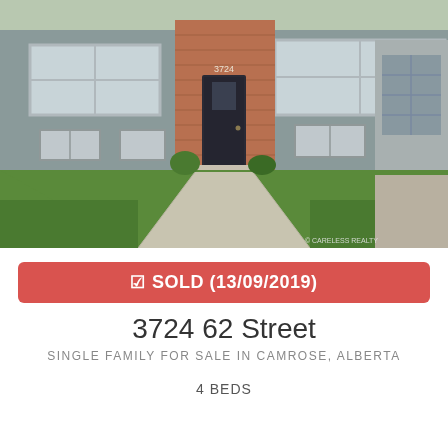[Figure (photo): Exterior photo of a single-family home with gray siding, brick accent around the front entrance, dark front door, large windows, and a well-manicured green lawn with a concrete walkway leading to the front door. A white garage is partially visible on the right. Copyright watermark reads: © CARELESS REALTY]
☑ SOLD (13/09/2019)
3724 62 Street
SINGLE FAMILY FOR SALE IN CAMROSE, ALBERTA
4 BEDS